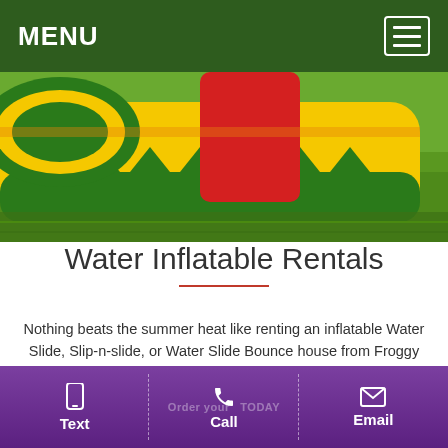MENU
[Figure (photo): Colorful inflatable water slide/bounce house in green, yellow, and red on grass]
Water Inflatable Rentals
Nothing beats the summer heat like renting an inflatable Water Slide, Slip-n-slide, or Water Slide Bounce house from Froggy Hops in Lino Lakes, MN! We offer a variety of styles that will cool you off on those sizzling summer days!
Text | Call | Email